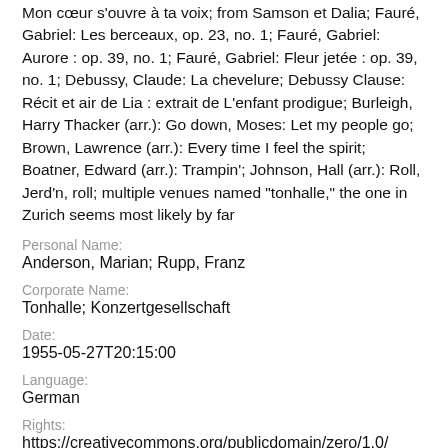Mon cœur s'ouvre à ta voix; from Samson et Dalia; Fauré, Gabriel: Les berceaux, op. 23, no. 1; Fauré, Gabriel: Aurore : op. 39, no. 1; Fauré, Gabriel: Fleur jetée : op. 39, no. 1; Debussy, Claude: La chevelure; Debussy Clause: Récit et air de Lia : extrait de L'enfant prodigue; Burleigh, Harry Thacker (arr.): Go down, Moses: Let my people go; Brown, Lawrence (arr.): Every time I feel the spirit; Boatner, Edward (arr.): Trampin'; Johnson, Hall (arr.): Roll, Jerd'n, roll; multiple venues named "tonhalle," the one in Zurich seems most likely by far
Personal Name:
Anderson, Marian; Rupp, Franz
Corporate Name:
Tonhalle; Konzertgesellschaft
Date:
1955-05-27T20:15:00
Language:
German
Rights:
https://creativecommons.org/publicdomain/zero/1.0/
Collection:
Marian Anderson Papers (University of Pennsylvania)